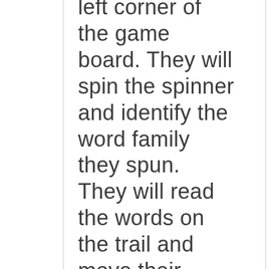left corner of the game board. They will spin the spinner and identify the word family they spun. They will read the words on the trail and move their game piece